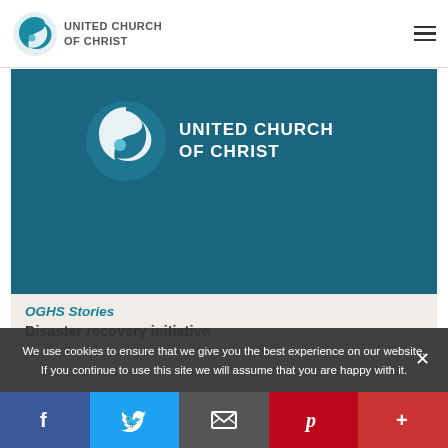United Church of Christ — navigation header with logo and hamburger menu
[Figure (screenshot): United Church of Christ logo on teal/dark blue hero banner background]
OGHS Stories
Disaster recovery initiative
We use cookies to ensure that we give you the best experience on our website. If you continue to use this site we will assume that you are happy with it.
Social share bar: Facebook, Twitter, Email, Pinterest, More